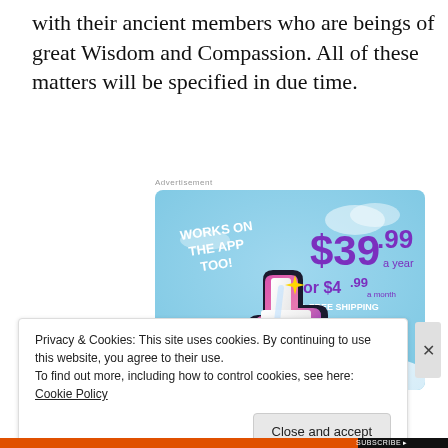with their ancient members who are beings of great Wisdom and Compassion. All of these matters will be specified in due time.
[Figure (advertisement): Tumblr advertisement banner showing 'WORKS ON THE APP TOO!' with pricing $39.99 a year or $4.99 a month + FREE SHIPPING, featuring the Tumblr 't' logo on a blue sky background]
Privacy & Cookies: This site uses cookies. By continuing to use this website, you agree to their use.
To find out more, including how to control cookies, see here: Cookie Policy
Close and accept